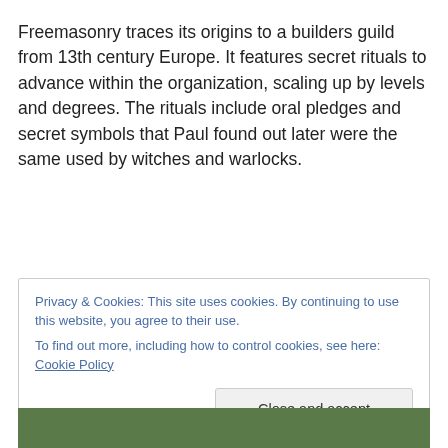Freemasonry traces its origins to a builders guild from 13th century Europe. It features secret rituals to advance within the organization, scaling up by levels and degrees. The rituals include oral pledges and secret symbols that Paul found out later were the same used by witches and warlocks.
Privacy & Cookies: This site uses cookies. By continuing to use this website, you agree to their use.
To find out more, including how to control cookies, see here: Cookie Policy
[Figure (photo): Partial photo strip at bottom showing green foliage/plants]